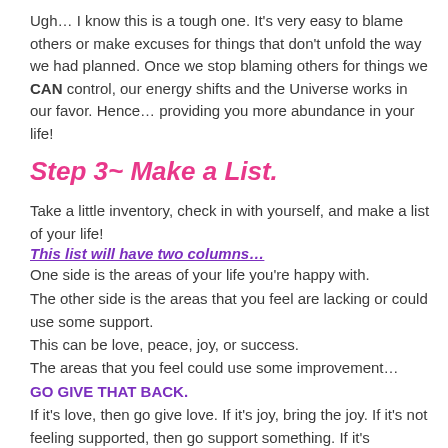Ugh… I know this is a tough one. It's very easy to blame others or make excuses for things that don't unfold the way we had planned. Once we stop blaming others for things we CAN control, our energy shifts and the Universe works in our favor. Hence… providing you more abundance in your life!
Step 3~ Make a List.
Take a little inventory, check in with yourself, and make a list of your life!
This list will have two columns…
One side is the areas of your life you're happy with.
The other side is the areas that you feel are lacking or could use some support.
This can be love, peace, joy, or success.
The areas that you feel could use some improvement…
GO GIVE THAT BACK.
If it's love, then go give love. If it's joy, bring the joy. If it's not feeling supported, then go support something. If it's